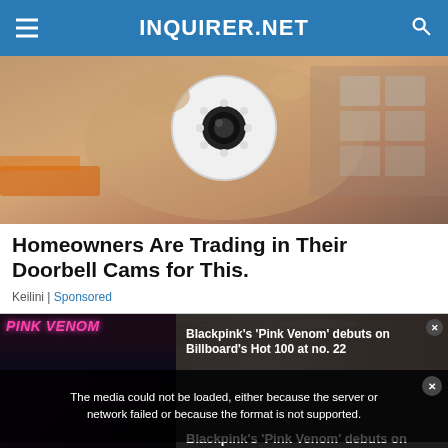INQUIRER.NET
[Figure (photo): Hand holding a small white security camera with LED ring, other cameras in background]
Homeowners Are Trading in Their Doorbell Cams for This.
Keilini | Sponsored
[Figure (photo): Close-up of lips/skin, partial view, with video player overlay showing error message and Blackpink Pink Venom content]
The media could not be loaded, either because the server or network failed or because the format is not supported.
Blackpink's 'Pink Venom' debuts on Billboard's Hot 100 at no. 22